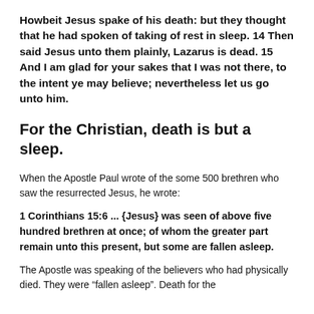Howbeit Jesus spake of his death: but they thought that he had spoken of taking of rest in sleep. 14 Then said Jesus unto them plainly, Lazarus is dead. 15 And I am glad for your sakes that I was not there, to the intent ye may believe; nevertheless let us go unto him.
For the Christian, death is but a sleep.
When the Apostle Paul wrote of the some 500 brethren who saw the resurrected Jesus, he wrote:
1 Corinthians 15:6 ... {Jesus} was seen of above five hundred brethren at once; of whom the greater part remain unto this present, but some are fallen asleep.
The Apostle was speaking of the believers who had physically died. They were “fallen asleep”. Death for the